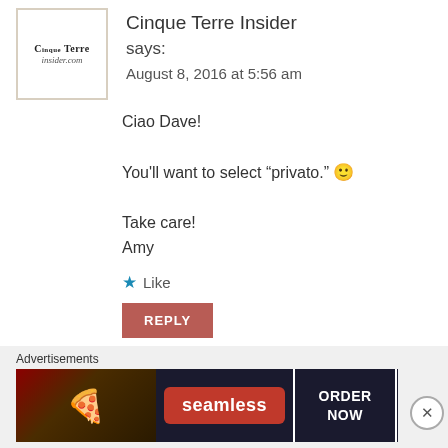Cinque Terre Insider says:
August 8, 2016 at 5:56 am
Ciao Dave!

You’ll want to select “privato.” 🙂

Take care!
Amy
★ Like
REPLY
Advertisements
[Figure (screenshot): Seamless food ordering advertisement banner with pizza image on left, red Seamless logo in center, and ORDER NOW button on right with white border on dark background]